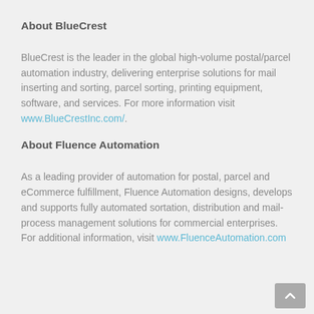About BlueCrest
BlueCrest is the leader in the global high-volume postal/parcel automation industry, delivering enterprise solutions for mail inserting and sorting, parcel sorting, printing equipment, software, and services. For more information visit www.BlueCrestInc.com/.
About Fluence Automation
As a leading provider of automation for postal, parcel and eCommerce fulfillment, Fluence Automation designs, develops and supports fully automated sortation, distribution and mail-process management solutions for commercial enterprises. For additional information, visit www.FluenceAutomation.com